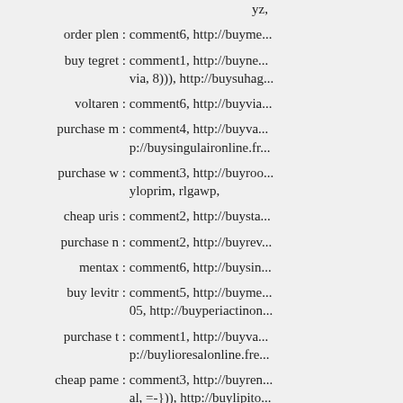yz,
order plen : comment6, http://buyme...
buy tegret : comment1, http://buyne... via, 8))), http://buysuhag...
voltaren : comment6, http://buyvia...
purchase m : comment4, http://buyva... p://buysingulaironline.fr...
purchase w : comment3, http://buyroo... yloprim, rlgawp,
cheap uris : comment2, http://buysta...
purchase n : comment2, http://buyrev...
mentax : comment6, http://buysin...
buy levitr : comment5, http://buyme... 05, http://buyperiactinon...
purchase t : comment1, http://buyva... p://buylioresalonline.fre...
cheap pame : comment3, http://buyren... al, =-})), http://buylipito...
buy paxil : comment1, http://buyuro...
cheap zyrt : comment2, http://buymi... p://buylexaproonline.fre...
motilium : comment5, http://buypro...